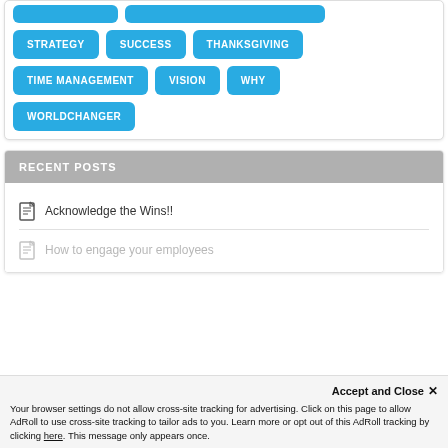[Figure (other): Tag cloud with blue rounded rectangle buttons showing category tags: (partial top row tags), STRATEGY, SUCCESS, THANKSGIVING, TIME MANAGEMENT, VISION, WHY, WORLDCHANGER]
RECENT POSTS
Acknowledge the Wins!!
How to engage your employees
Accept and Close ✕
Your browser settings do not allow cross-site tracking for advertising. Click on this page to allow AdRoll to use cross-site tracking to tailor ads to you. Learn more or opt out of this AdRoll tracking by clicking here. This message only appears once.